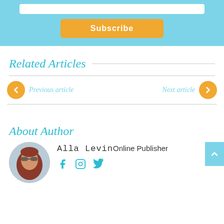[Figure (screenshot): Subscribe button area with light blue background and orange Subscribe button]
Related Articles
Previous article
Next article
About Author
Alla Levin Online Publisher
[Figure (photo): Author photo of Alla Levin, a red-haired woman]
Social icons: Facebook, Instagram, Twitter